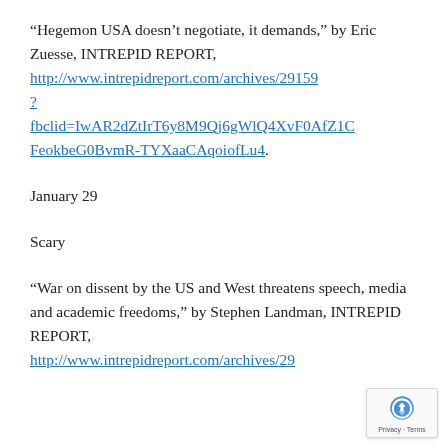“Hegemon USA doesn’t negotiate, it demands,” by Eric Zuesse, INTREPID REPORT, http://www.intrepidreport.com/archives/29159?fbclid=IwAR2dZtIrT6y8M9Qj6gWlQ4XvF0AfZ1CFeokbeG0BvmR-TYXaaCAqoiofLu4.
January 29
Scary
“War on dissent by the US and West threatens speech, media and academic freedoms,” by Stephen Landman, INTREPID REPORT, http://www.intrepidreport.com/archives/29...